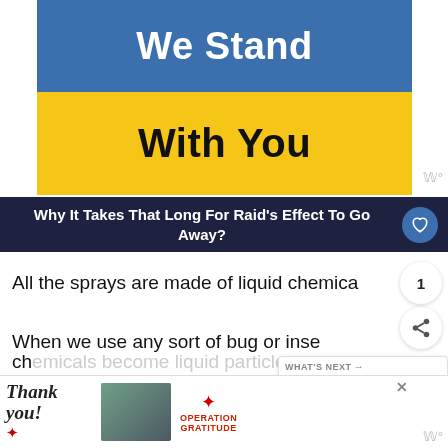[Figure (illustration): Blue and yellow banner with text 'We Stand With You'. Top half blue with white bold text 'We Stand', bottom half yellow with black bold text 'With You'.]
Why It Takes That Long For Raid's Effect To Go Away?
All the sprays are made of liquid chemica
When we use any sort of bug or insect spray to get rid of the insects and bugs the chemical
[Figure (illustration): Advertisement banner: 'Thank you!' text with American flag star graphic, military personnel photo, and Operation Gratitude logo.]